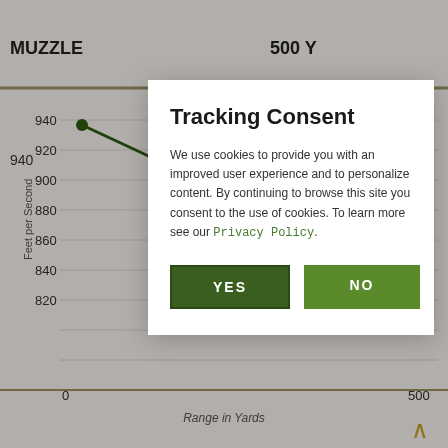[Figure (screenshot): Background chart showing bullet velocity in feet per second vs range in yards (MUZZLE to 500 Y), with y-axis values from ~820 to 940, a green line chart, and axis labels. Partially obscured by modal dialog.]
Tracking Consent
We use cookies to provide you with an improved user experience and to personalize content. By continuing to browse this site you consent to the use of cookies. To learn more see our Privacy Policy.
YES
NO